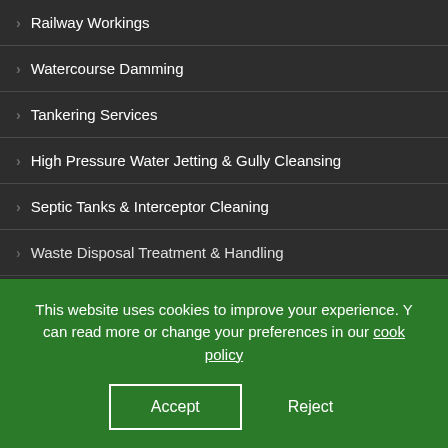Railway Workings
Watercourse Damming
Tankering Services
High Pressure Water Jetting & Gully Cleansing
Septic Tanks & Interceptor Cleaning
Waste Disposal Treatment & Handling
This website uses cookies to improve your experience. You can read more or change your preferences in our cookie policy
Accept | Reject